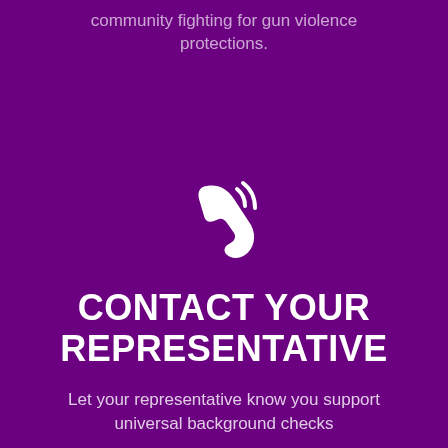community fighting for gun violence protections.
[Figure (illustration): White phone/call icon with signal waves on purple background]
CONTACT YOUR REPRESENTATIVE
Let your representative know you support universal background checks